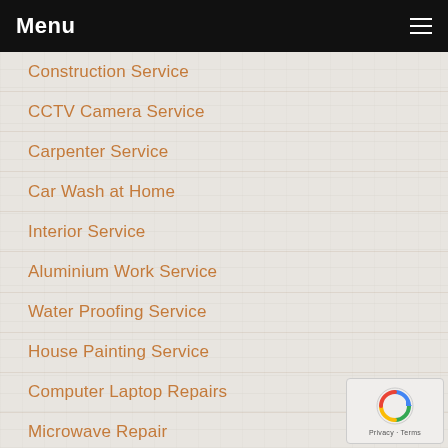Menu
Construction Service
CCTV Camera Service
Carpenter Service
Car Wash at Home
Interior Service
Aluminium Work Service
Water Proofing Service
House Painting Service
Computer Laptop Repairs
Microwave Repair
Washing Machine Repair